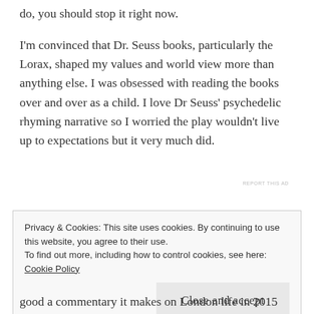do, you should stop it right now.
I'm convinced that Dr. Seuss books, particularly the Lorax, shaped my values and world view more than anything else. I was obsessed with reading the books over and over as a child. I love Dr Seuss' psychedelic rhyming narrative so I worried the play wouldn't live up to expectations but it very much did.
REPORT THIS AD
Privacy & Cookies: This site uses cookies. By continuing to use this website, you agree to their use.
To find out more, including how to control cookies, see here: Cookie Policy
Close and accept
good a commentary it makes on London life in 2015